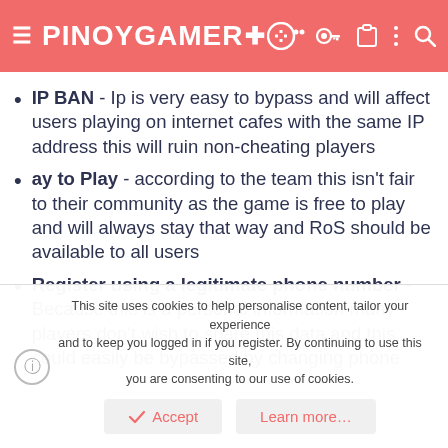PINOYGAMER
IP BAN - Ip is very easy to bypass and will affect users playing on internet cafes with the same IP address this will ruin non-cheating players
ay to Play - according to the team this isn't fair to their community as the game is free to play and will always stay that way and RoS should be available to all users
Register using a legitimate phone number - Because this is a personal information many players don't wish to share this data and this could easily be bypassed by changing phone
This site uses cookies to help personalise content, tailor your experience and to keep you logged in if you register. By continuing to use this site, you are consenting to our use of cookies.